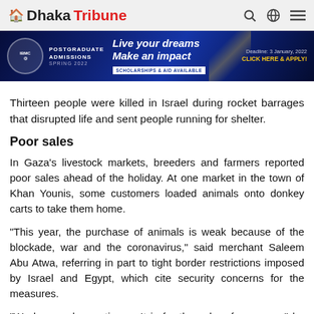Dhaka Tribune
[Figure (other): Dhaka Tribune website advertisement banner for IBMC postgraduate admissions Spring 2022, with text: POSTGRADUATE ADMISSIONS SPRING 2022, Live your dreams Make an impact, SCHOLARSHIPS & AID AVAILABLE, Deadline: 3 January, 2022, CLICK HERE & APPLY!]
Thirteen people were killed in Israel during rocket barrages that disrupted life and sent people running for shelter.
Poor sales
In Gaza's livestock markets, breeders and farmers reported poor sales ahead of the holiday. At one market in the town of Khan Younis, some customers loaded animals onto donkey carts to take them home.
"This year, the purchase of animals is weak because of the blockade, war and the coronavirus," said merchant Saleem Abu Atwa, referring in part to tight border restrictions imposed by Israel and Egypt, which cite security concerns for the measures.
"We hope calm continues. It is for the sake of everyone," he added.